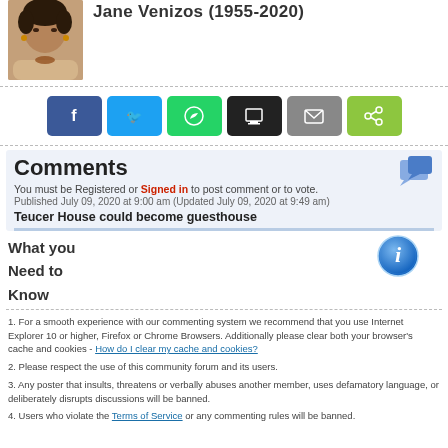Jane Venizos (1955-2020)
[Figure (photo): Portrait photo of Jane Venizos]
[Figure (infographic): Social share buttons: Facebook, Twitter, WhatsApp, Print, Email, Share]
Comments
You must be Registered or Signed in to post comment or to vote.
Published July 09, 2020 at 9:00 am (Updated July 09, 2020 at 9:49 am)
Teucer House could become guesthouse
What you Need to Know
[Figure (illustration): Blue information 'i' icon]
1. For a smooth experience with our commenting system we recommend that you use Internet Explorer 10 or higher, Firefox or Chrome Browsers. Additionally please clear both your browser's cache and cookies - How do I clear my cache and cookies?
2. Please respect the use of this community forum and its users.
3. Any poster that insults, threatens or verbally abuses another member, uses defamatory language, or deliberately disrupts discussions will be banned.
4. Users who violate the Terms of Service or any commenting rules will be banned.